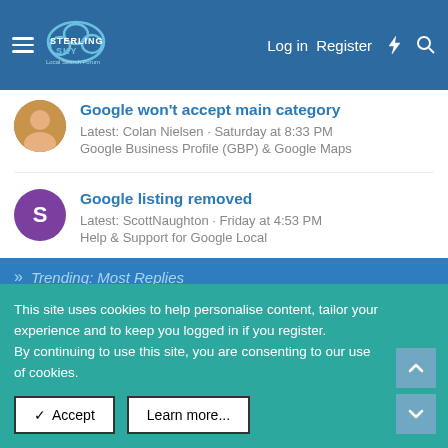Sterling Sky Local Search Forum — Log in | Register
Google won't accept main category
Latest: Colan Nielsen · Saturday at 8:33 PM
Google Business Profile (GBP) & Google Maps
Google listing removed
Latest: ScottNaughton · Friday at 4:53 PM
Help & Support for Google Local
Keyboard Stuffing In the Attorney Marketing-Marketing Space
Latest: seaniaaa · Friday at 2:16 PM
Spam on Google
Trending: Most Replies
This site uses cookies to help personalise content, tailor your experience and to keep you logged in if you register.
By continuing to use this site, you are consenting to our use of cookies.